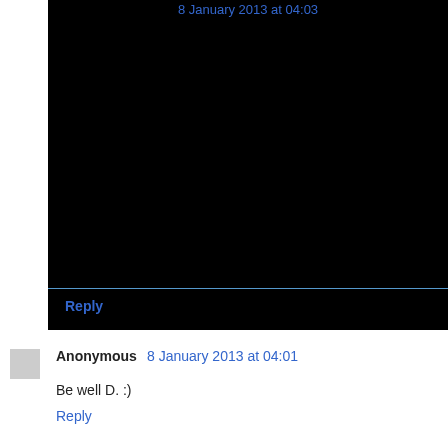8 January 2013 at 04:03
Reply
Anonymous 8 January 2013 at 04:01
Be well D. :)
Reply